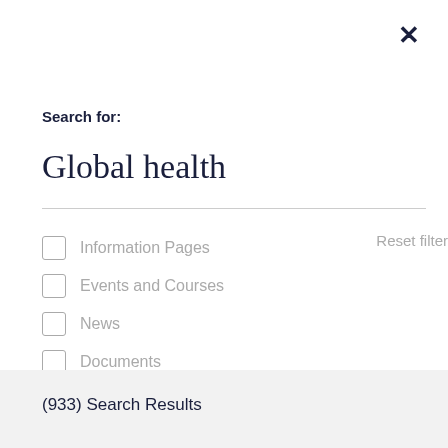×
Search for:
Global health
Information Pages
Reset filter
Events and Courses
News
Documents
(933) Search Results